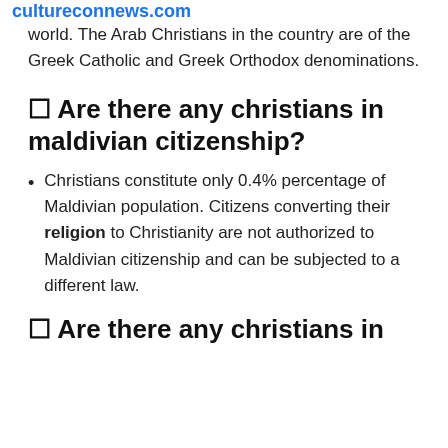cultureconnews.com
world. The Arab Christians in the country are of the Greek Catholic and Greek Orthodox denominations.
🔲 Are there any christians in maldivian citizenship?
Christians constitute only 0.4% percentage of Maldivian population. Citizens converting their religion to Christianity are not authorized to Maldivian citizenship and can be subjected to a different law.
🔲 Are there any christians in